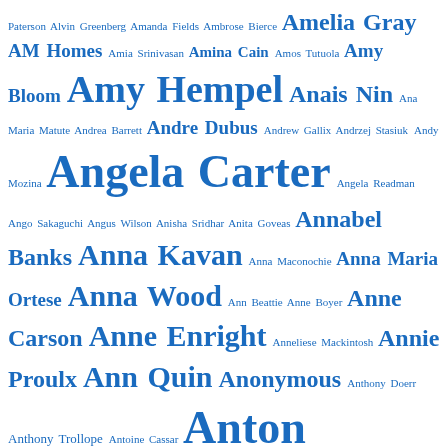[Figure (other): Tag cloud of author names in various font sizes, all in blue, representing frequency/popularity. Names range from small (less prominent) to very large (most prominent). Includes: Paterson Alvin Greenberg Amanda Fields Ambrose Bierce Amelia Gray AM Homes Amia Srinivasan Amina Cain Amos Tutuola Amy Bloom Amy Hempel Anais Nin Ana Maria Matute Andrea Barrett Andre Dubus Andrew Gallix Andrzej Stasiuk Andy Mozina Angela Carter Angela Readman Ango Sakaguchi Angus Wilson Anisha Sridhar Anita Goveas Annabel Banks Anna Kavan Anna Maconochie Anna Maria Ortese Anna Wood Ann Beattie Anne Boyer Anne Carson Anne Enright Anneliese Mackintosh Annie Proulx Ann Quin Anonymous Anthony Doerr Anthony Trollope Antoine Cassar Anton Chekhov Antonetta Behr Antonio Ruiz-Camacho Anum Asi Anwara Syed Haq Aoko Matsuda Arnon Grunberg Arno Schmidt Arthur Conan Doyle Arthur Machen Arthur Schnitzler Arthur Scholey Asali Solomon AS Byatt Ashton Politanoff Assia Djebar Audrey Mbugua Austin Sanchez-Moran Avee Chaudhuri Ayelet Tsabari Banana Yoshimoto Barbara Baynton Barbara Campbell Barbara Neuwirth Barbara Pym Barry Callaghan Barry Hannah Beatrix Potter Begum Rokeya Ben Halls Benito Pérez Galdós Ben Katchor Ben Lerner Ben Marcus Ben Myers Ben]